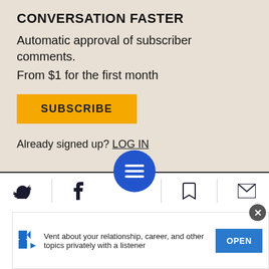CONVERSATION FASTER
Automatic approval of subscriber comments.
From $1 for the first month
SUBSCRIBE
Already signed up? LOG IN
Sort comment by  Newest first
7  Wudstok  04:30 29.12.2017
[Figure (screenshot): Bottom navigation bar with Twitter, Facebook, menu FAB button, bookmark, and email icons]
[Figure (screenshot): Advertisement banner: Vent about your relationship, career, and other topics privately with a listener. OPEN button.]